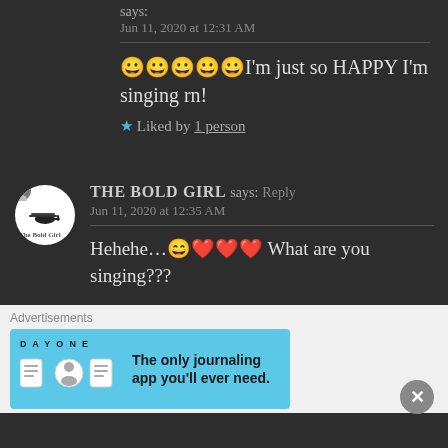says:
Jun 11, 2020 at 12:31 AM
😀😀😀😀😀I'm just so HAPPY I'm singing rn!
★ Liked by 1 person
[Figure (photo): User avatar circle with The Bold Girl logo (helicopter icon)]
THE BOLD GIRL says: Reply
Jun 11, 2020 at 12:35 AM
Hehehe…😄❤❤❤ What are you singing???
Advertisements
[Figure (screenshot): DAY ONE app advertisement banner - The only journaling app you'll ever need.]